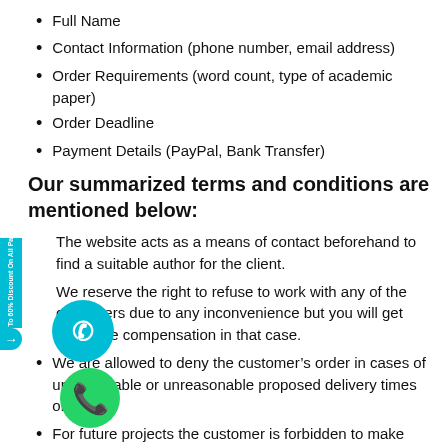Full Name
Contact Information (phone number, email address)
Order Requirements (word count, type of academic paper)
Order Deadline
Payment Details (PayPal, Bank Transfer)
Our summarized terms and conditions are mentioned below:
The website acts as a means of contact beforehand to find a suitable author for the client.
We reserve the right to refuse to work with any of the customers due to any inconvenience but you will get adequate compensation in that case.
We are allowed to deny the customer's order in cases of unacceptable or unreasonable proposed delivery times or pricing.
For future projects the customer is forbidden to make